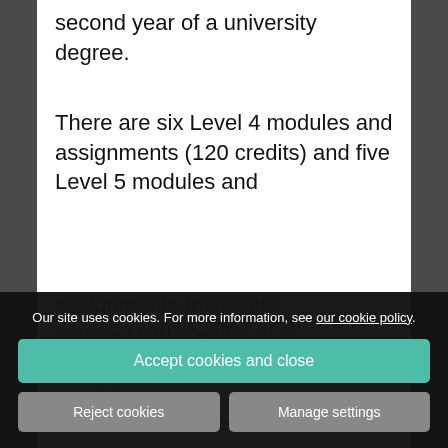second year of a university degree.
There are six Level 4 modules and assignments (120 credits) and five Level 5 modules and
course (120 credits). If a
study just at Level 4, he
credits and will be
[Figure (screenshot): Cookie consent banner overlay with dark semi-transparent background. Contains text 'Our site uses cookies. For more information, see our cookie policy.' with a teal 'Accept cookies and close' button, and two grey buttons 'Reject cookies' and 'Manage settings'.]